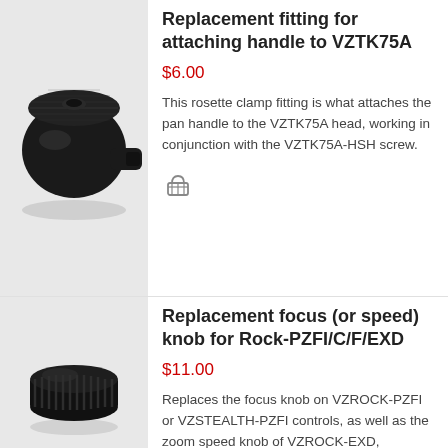[Figure (photo): Black rosette clamp fitting for attaching handle to VZTK75A tripod head]
Replacement fitting for attaching handle to VZTK75A
$6.00
This rosette clamp fitting is what attaches the pan handle to the VZTK75A head, working in conjunction with the VZTK75A-HSH screw.
[Figure (photo): Black knurled focus/speed knob for Rock-PZFI/C/F/EXD camera controls]
Replacement focus (or speed) knob for Rock-PZFI/C/F/EXD
$11.00
Replaces the focus knob on VZROCK-PZFI or VZSTEALTH-PZFI controls, as well as the zoom speed knob of VZROCK-EXD,